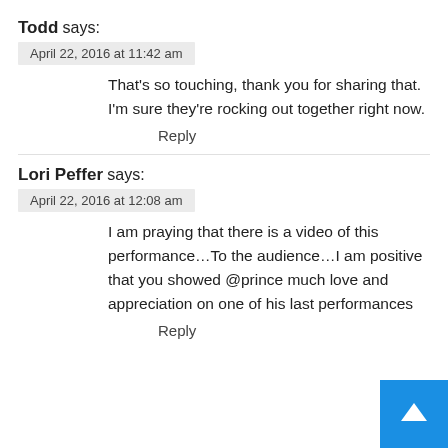Todd says:
April 22, 2016 at 11:42 am
That's so touching, thank you for sharing that. I'm sure they're rocking out together right now.
Reply
Lori Peffer says:
April 22, 2016 at 12:08 am
I am praying that there is a video of this performance…To the audience…I am positive that you showed @prince much love and appreciation on one of his last performances
Reply